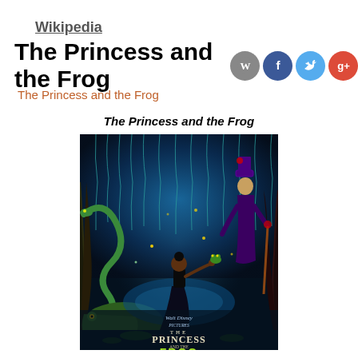Wikipedia
The Princess and the Frog
The Princess and the Frog
The Princess and the Frog
[Figure (illustration): Movie poster for The Princess and the Frog (Walt Disney Pictures). Shows animated characters in a glowing blue bayou swamp scene. Center features a princess silhouette holding a frog, surrounded by a snake, alligator, villain in top hat, and fireflies. Title text at bottom reads 'THE PRINCESS AND THE FROG' with 'Walt Disney Pictures' at top.]